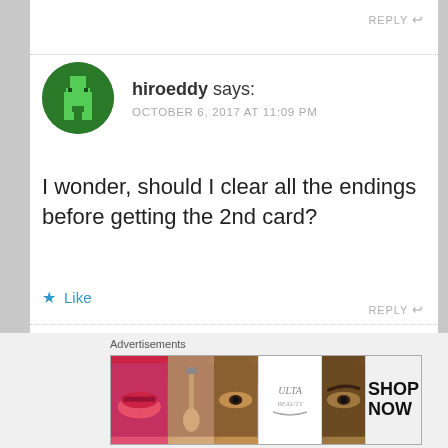REPLY
[Figure (illustration): Circular avatar of user hiroeddy: dark green background with pixel-art figure in lighter green]
hiroeddy says:
OCTOBER 6, 2017 AT 11:09 PM
I wonder, should I clear all the endings before getting the 2nd card?
Like
REPLY
Advertisements
[Figure (infographic): ULTA beauty advertisement banner showing makeup-related images (lips, brush, eye, ULTA logo, brow) and SHOP NOW call to action]